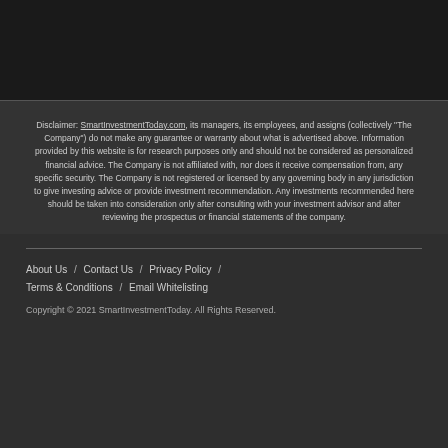Disclaimer: SmartInvestmentToday.com, its managers, its employees, and assigns (collectively "The Company") do not make any guarantee or warranty about what is advertised above. Information provided by this website is for research purposes only and should not be considered as personalized financial advice. The Company is not affiliated with, nor does it receive compensation from, any specific security. The Company is not registered or licensed by any governing body in any jurisdiction to give investing advice or provide investment recommendation. Any investments recommended here should be taken into consideration only after consulting with your investment advisor and after reviewing the prospectus or financial statements of the company.
About Us   /   Contact Us   /   Privacy Policy   /   Terms & Conditions   /   Email Whitelisting
Copyright © 2021 SmartInvestmentToday. All Rights Reserved.